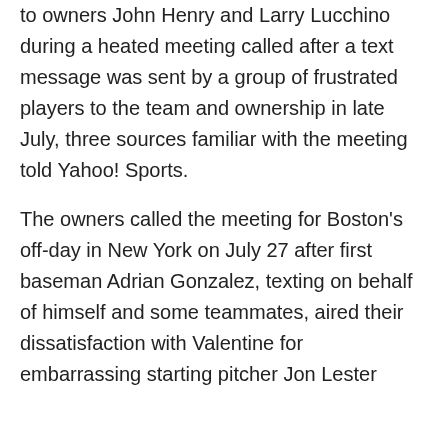to owners John Henry and Larry Lucchino during a heated meeting called after a text message was sent by a group of frustrated players to the team and ownership in late July, three sources familiar with the meeting told Yahoo! Sports.

The owners called the meeting for Boston's off-day in New York on July 27 after first baseman Adrian Gonzalez, texting on behalf of himself and some teammates, aired their dissatisfaction with Valentine for embarrassing starting pitcher Jon Lester